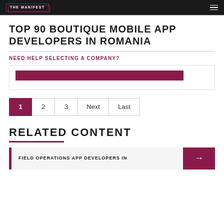THE MANIFEST
TOP 90 BOUTIQUE MOBILE APP DEVELOPERS IN ROMANIA
NEED HELP SELECTING A COMPANY?
Pagination: 1, 2, 3, Next, Last
RELATED CONTENT
FIELD OPERATIONS APP DEVELOPERS IN